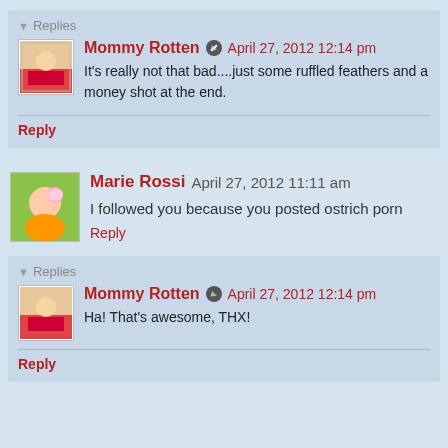▼ Replies
Mommy Rotten  April 27, 2012 12:14 pm
It's really not that bad....just some ruffled feathers and a money shot at the end.
Reply
Marie Rossi  April 27, 2012 11:11 am
I followed you because you posted ostrich porn
Reply
▼ Replies
Mommy Rotten  April 27, 2012 12:14 pm
Ha! That's awesome, THX!
Reply